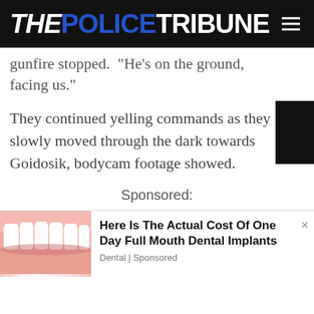THE POLICE TRIBUNE
gunfire stopped.  'He's on the ground, facing us.'
They continued yelling commands as they slowly moved through the dark towards Goidosik, bodycam footage showed.
Sponsored:
[Figure (photo): Close-up photo of teeth/dental implants]
Here Is The Actual Cost Of One Day Full Mouth Dental Implants
Dental | Sponsored